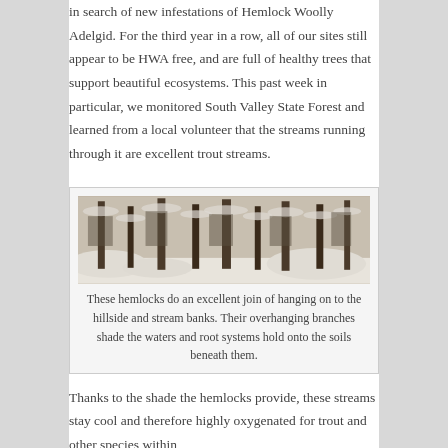in search of new infestations of Hemlock Woolly Adelgid. For the third year in a row, all of our sites still appear to be HWA free, and are full of healthy trees that support beautiful ecosystems. This past week in particular, we monitored South Valley State Forest and learned from a local volunteer that the streams running through it are excellent trout streams.
[Figure (photo): A winter forest scene showing hemlock trees covered in snow on a hillside with stream banks visible.]
These hemlocks do an excellent join of hanging on to the hillside and stream banks. Their overhanging branches shade the waters and root systems hold onto the soils beneath them.
Thanks to the shade the hemlocks provide, these streams stay cool and therefore highly oxygenated for trout and other species within